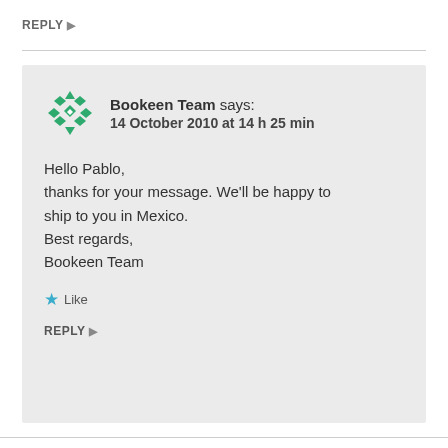REPLY ▶
Bookeen Team says:
14 October 2010 at 14 h 25 min

Hello Pablo,
thanks for your message. We'll be happy to ship to you in Mexico.
Best regards,
Bookeen Team
★ Like
REPLY ▶